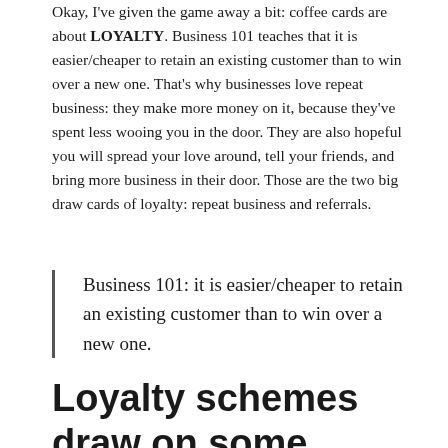Okay, I've given the game away a bit: coffee cards are about LOYALTY. Business 101 teaches that it is easier/cheaper to retain an existing customer than to win over a new one. That's why businesses love repeat business: they make more money on it, because they've spent less wooing you in the door. They are also hopeful you will spread your love around, tell your friends, and bring more business in their door. Those are the two big draw cards of loyalty: repeat business and referrals.
Business 101: it is easier/cheaper to retain an existing customer than to win over a new one.
Loyalty schemes draw on some basics of human